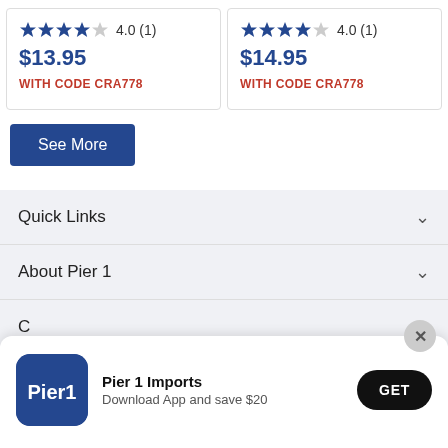★★★★☆ 4.0 (1)
$13.95
WITH CODE CRA778
★★★★☆ 4.0 (1)
$14.95
WITH CODE CRA778
See More
Quick Links
About Pier 1
Pier 1 Imports
Download App and save $20
GET